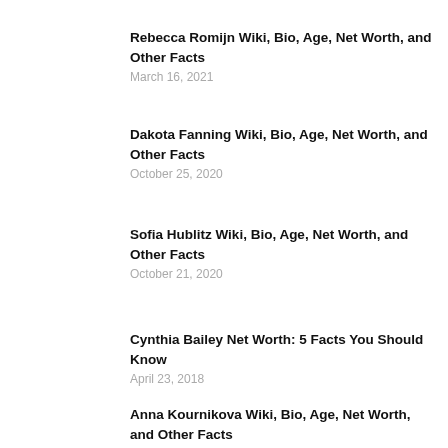Rebecca Romijn Wiki, Bio, Age, Net Worth, and Other Facts
March 16, 2021
Dakota Fanning Wiki, Bio, Age, Net Worth, and Other Facts
October 25, 2020
Sofia Hublitz Wiki, Bio, Age, Net Worth, and Other Facts
October 21, 2020
Cynthia Bailey Net Worth: 5 Facts You Should Know
April 23, 2018
Anna Kournikova Wiki, Bio, Age, Net Worth, and Other Facts